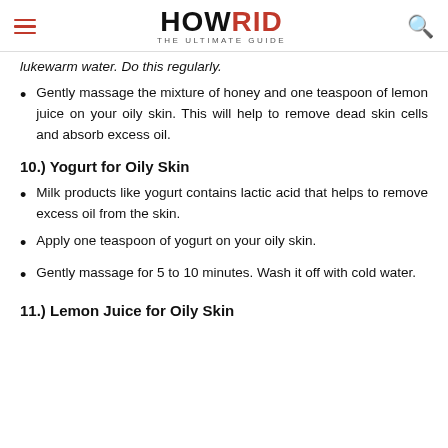HOWRID THE ULTIMATE GUIDE
lukewarm water. Do this regularly.
Gently massage the mixture of honey and one teaspoon of lemon juice on your oily skin. This will help to remove dead skin cells and absorb excess oil.
10.) Yogurt for Oily Skin
Milk products like yogurt contains lactic acid that helps to remove excess oil from the skin.
Apply one teaspoon of yogurt on your oily skin.
Gently massage for 5 to 10 minutes. Wash it off with cold water.
11.) Lemon Juice for Oily Skin